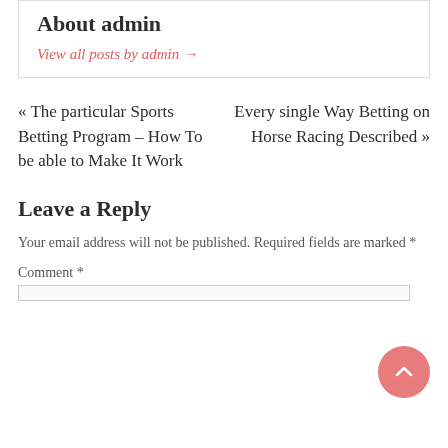About admin
View all posts by admin →
« The particular Sports Betting Program – How To be able to Make It Work
Every single Way Betting on Horse Racing Described »
Leave a Reply
Your email address will not be published. Required fields are marked *
Comment *